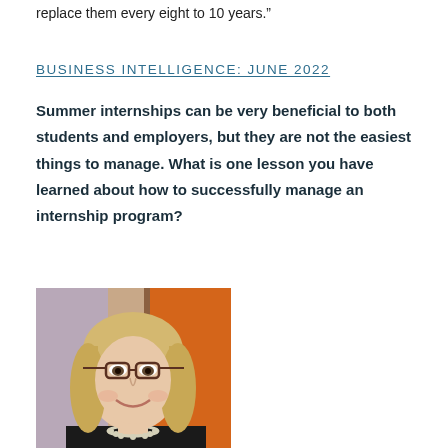replace them every eight to 10 years.”
BUSINESS INTELLIGENCE: JUNE 2022
Summer internships can be very beneficial to both students and employers, but they are not the easiest things to manage. What is one lesson you have learned about how to successfully manage an internship program?
[Figure (photo): Portrait photo of a middle-aged woman with blonde hair and glasses, wearing a dark top and necklace, smiling against an orange/purple background.]